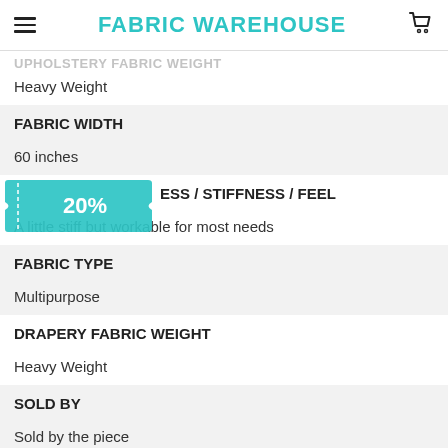FABRIC WAREHOUSE
UPHOLSTERY FABRIC WEIGHT
Heavy Weight
FABRIC WIDTH
60 inches
SOFTNESS / STIFFNESS / FEEL
A little stiff but workable for most needs
FABRIC TYPE
Multipurpose
DRAPERY FABRIC WEIGHT
Heavy Weight
SOLD BY
Sold by the piece